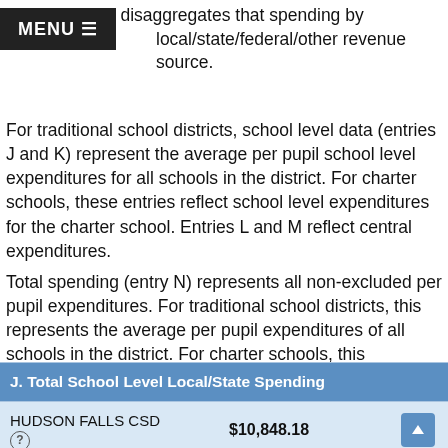View One, but disaggregates that spending by local/state/federal/other revenue source.
For traditional school districts, school level data (entries J and K) represent the average per pupil school level expenditures for all schools in the district. For charter schools, these entries reflect school level expenditures for the charter school. Entries L and M reflect central expenditures.
Total spending (entry N) represents all non-excluded per pupil expenditures. For traditional school districts, this represents the average per pupil expenditures of all schools in the district. For charter schools, this represents per pupil school level expenditures.
| J. Total School Level Local/State Spending |  |
| --- | --- |
| HUDSON FALLS CSD | $10,848.18 |